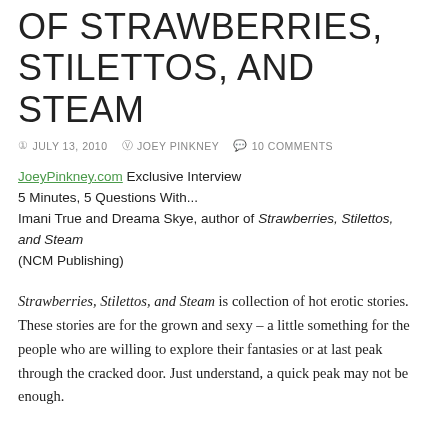OF STRAWBERRIES, STILETTOS, AND STEAM
JULY 13, 2010  JOEY PINKNEY  10 COMMENTS
JoeyPinkney.com Exclusive Interview
5 Minutes, 5 Questions With...
Imani True and Dreama Skye, author of Strawberries, Stilettos, and Steam
(NCM Publishing)
Strawberries, Stilettos, and Steam is collection of hot erotic stories. These stories are for the grown and sexy – a little something for the people who are willing to explore their fantasies or at last peak through the cracked door. Just understand, a quick peak may not be enough.